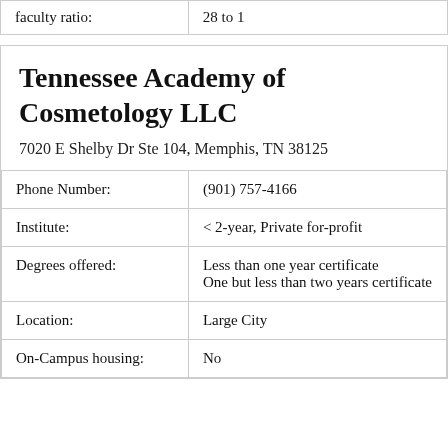| faculty ratio: | 28 to 1 |
| --- | --- |
Tennessee Academy of Cosmetology LLC
7020 E Shelby Dr Ste 104, Memphis, TN 38125
| Phone Number: | (901) 757-4166 |
| Institute: | < 2-year, Private for-profit |
| Degrees offered: | Less than one year certificate
One but less than two years certificate |
| Location: | Large City |
| On-Campus housing: | No |